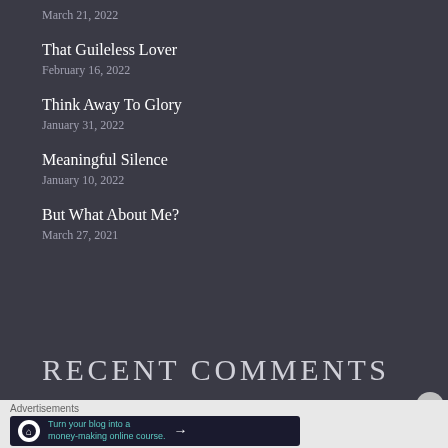March 21, 2022
That Guileless Lover
February 16, 2022
Think Away To Glory
January 31, 2022
Meaningful Silence
January 10, 2022
But What About Me?
March 27, 2021
RECENT COMMENTS
Advertisements
Turn your blog into a money-making online course.